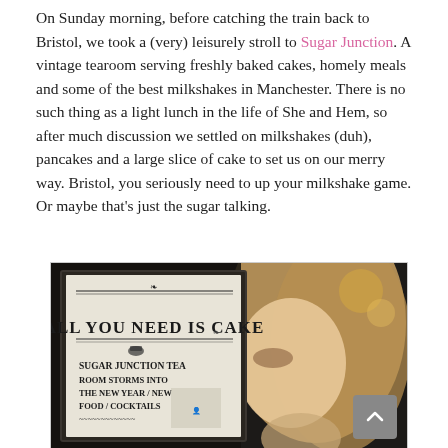On Sunday morning, before catching the train back to Bristol, we took a (very) leisurely stroll to Sugar Junction. A vintage tearoom serving freshly baked cakes, homely meals and some of the best milkshakes in Manchester. There is no such thing as a light lunch in the life of She and Hem, so after much discussion we settled on milkshakes (duh), pancakes and a large slice of cake to set us on our merry way. Bristol, you seriously need to up your milkshake game. Or maybe that's just the sugar talking.
[Figure (photo): A photo of a framed sign reading 'ALL YOU NEED IS CAKE' with 'SUGAR JUNCTION TEA' and other text below, next to a blonde woman's face in profile, in a warm café setting.]